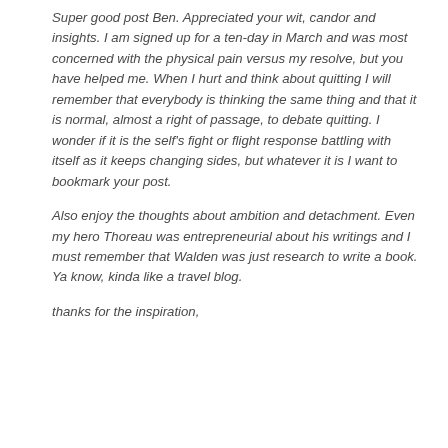Super good post Ben. Appreciated your wit, candor and insights. I am signed up for a ten-day in March and was most concerned with the physical pain versus my resolve, but you have helped me. When I hurt and think about quitting I will remember that everybody is thinking the same thing and that it is normal, almost a right of passage, to debate quitting. I wonder if it is the self's fight or flight response battling with itself as it keeps changing sides, but whatever it is I want to bookmark your post.
Also enjoy the thoughts about ambition and detachment. Even my hero Thoreau was entrepreneurial about his writings and I must remember that Walden was just research to write a book. Ya know, kinda like a travel blog.
thanks for the inspiration,